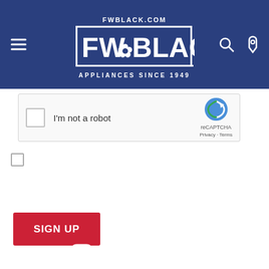[Figure (logo): FW Black Appliances Since 1949 logo on blue background with hamburger menu, search, and phone icons]
[Figure (screenshot): reCAPTCHA widget with checkbox labeled 'I'm not a robot' and reCAPTCHA logo]
I agree to receive the FW Black newsletter containing news, updates, and promotional offers. You can withdraw your consent at any time.
SIGN UP
[Figure (infographic): Social media icons row: Facebook, Instagram, YouTube, RSS, Email]